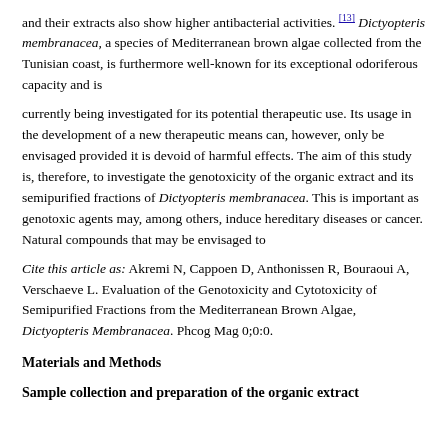and their extracts also show higher antibacterial activities. [13] Dictyopteris membranacea, a species of Mediterranean brown algae collected from the Tunisian coast, is furthermore well-known for its exceptional odoriferous capacity and is
currently being investigated for its potential therapeutic use. Its usage in the development of a new therapeutic means can, however, only be envisaged provided it is devoid of harmful effects. The aim of this study is, therefore, to investigate the genotoxicity of the organic extract and its semipurified fractions of Dictyopteris membranacea. This is important as genotoxic agents may, among others, induce hereditary diseases or cancer. Natural compounds that may be envisaged to
Cite this article as: Akremi N, Cappoen D, Anthonissen R, Bouraoui A, Verschaeve L. Evaluation of the Genotoxicity and Cytotoxicity of Semipurified Fractions from the Mediterranean Brown Algae, Dictyopteris Membranacea. Phcog Mag 0;0:0.
Materials and Methods
Sample collection and preparation of the organic extract